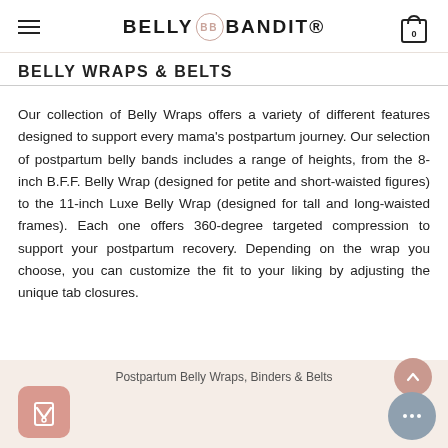BELLY BB BANDIT
BELLY WRAPS & BELTS
Our collection of Belly Wraps offers a variety of different features designed to support every mama's postpartum journey. Our selection of postpartum belly bands includes a range of heights, from the 8-inch B.F.F. Belly Wrap (designed for petite and short-waisted figures) to the 11-inch Luxe Belly Wrap (designed for tall and long-waisted frames). Each one offers 360-degree targeted compression to support your postpartum recovery. Depending on the wrap you choose, you can customize the fit to your liking by adjusting the unique tab closures.
Postpartum Belly Wraps, Binders & Belts